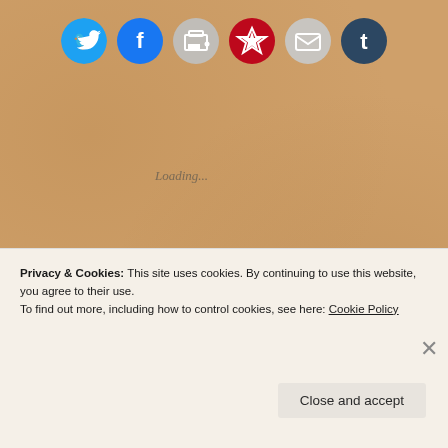[Figure (other): Six social share icon circles: Twitter (blue), Facebook (blue), Print (gray), Pinterest (red), Email (gray), Tumblr (dark blue)]
Loading...
Homeward Bound
20 DEC 2017
1 Comment
by Jem Croucher  in home, journey, poem, Poetry, train  Tags Liverpool, poem, Poetry, poetry blog, rhyme, train, verse, writi...
As stations go, the Lime Street one here in Liverpool
Privacy & Cookies: This site uses cookies. By continuing to use this website, you agree to their use. To find out more, including how to control cookies, see here: Cookie Policy
Close and accept